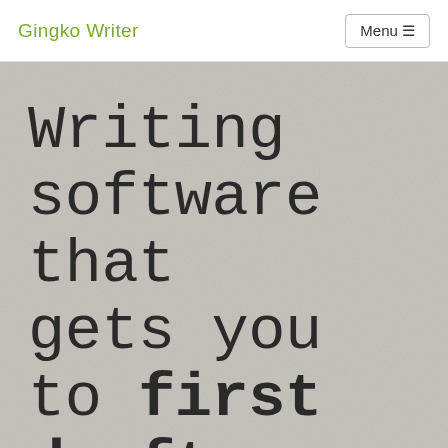Gingko Writer  Menu
Writing software that gets you to first draft, fast.
Go from notes → outline → draft in the same simple view. Stop being